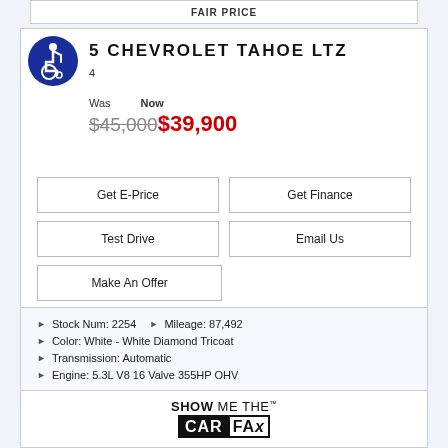FAIR PRICE
15 CHEVROLET TAHOE LTZ
4
Was $45,000  Now $39,900
Get E-Price
Get Finance
Test Drive
Email Us
Make An Offer
Stock Num: 2254  ▶ Mileage: 87,492
Color: White - White Diamond Tricoat
Transmission: Automatic
Engine: 5.3L V8 16 Valve 355HP OHV
[Figure (logo): SHOW ME THE CARFAX logo]